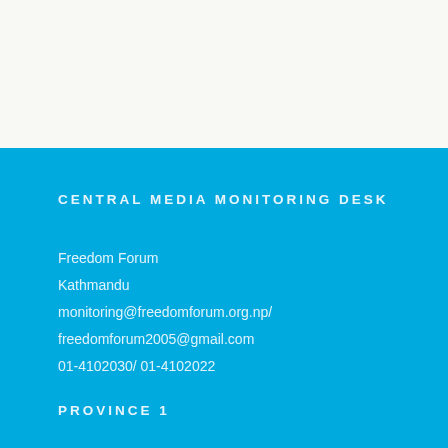CENTRAL MEDIA MONITORING DESK
Freedom Forum
Kathmandu
monitoring@freedomforum.org.np/
freedomforum2005@gmail.com
01-4102030/ 01-4102022
PROVINCE 1